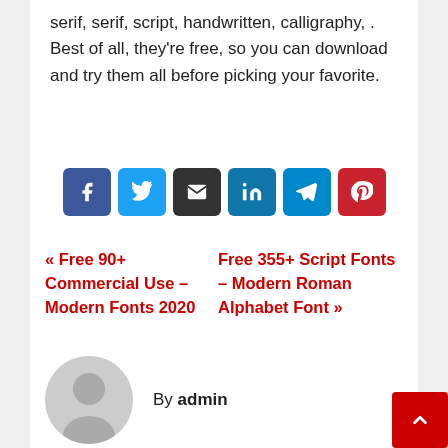serif, serif, script, handwritten, calligraphy, . Best of all, they're free, so you can download and try them all before picking your favorite.
[Figure (infographic): Row of 6 social share buttons: Facebook (dark blue), Twitter (light blue), Email (black), LinkedIn (teal blue), Telegram (cyan blue), Pinterest (red), each with white icons]
« Free 90+ Commercial Use – Modern Fonts 2020   Free 355+ Script Fonts – Modern Roman Alphabet Font »
[Figure (photo): Circular gray avatar/profile placeholder icon showing a generic person silhouette]
By admin